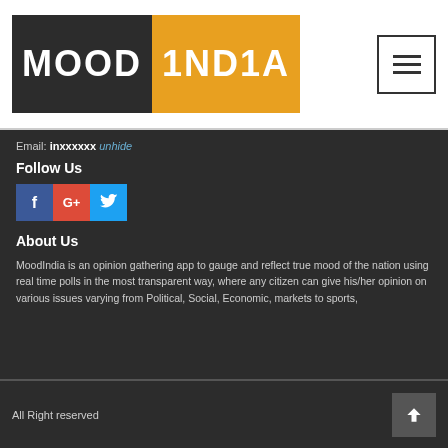[Figure (logo): MoodIndia logo: MOOD on dark background, INDIA on orange/yellow background]
[Figure (other): Hamburger menu button with three horizontal lines inside a square border]
Email: inxxxxxx unhide
Follow Us
[Figure (other): Three social media icon buttons: Facebook (blue), Google+ (red), Twitter (cyan)]
About Us
MoodIndia is an opinion gathering app to gauge and reflect true mood of the nation using real time polls in the most transparent way, where any citizen can give his/her opinion on various issues varying from Political, Social, Economic, markets to sports,
All Right reserved